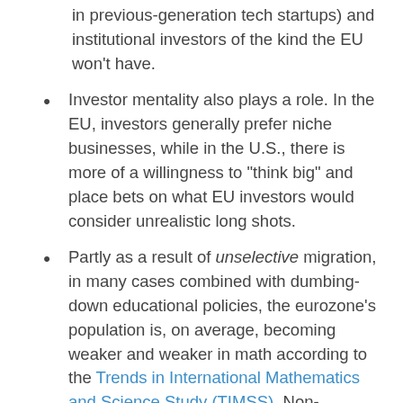in previous-generation tech startups) and institutional investors of the kind the EU won't have.
Investor mentality also plays a role. In the EU, investors generally prefer niche businesses, while in the U.S., there is more of a willingness to "think big" and place bets on what EU investors would consider unrealistic long shots.
Partly as a result of unselective migration, in many cases combined with dumbing-down educational policies, the eurozone's population is, on average, becoming weaker and weaker in math according to the Trends in International Mathematics and Science Study (TIMSS). Non-eurozone industrialized countries take fairly high percentages of their 12-year-old students to the top performance level (Singapore: 50%; South Korea: 40%; Northern Ireland: 27%; Russia: 20%; United States and Kazakhstan: 14%), while the